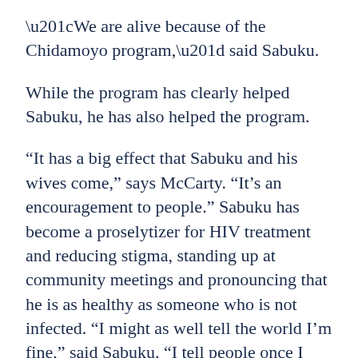“We are alive because of the Chidamoyo program,” said Sabuku.
While the program has clearly helped Sabuku, he has also helped the program.
“It has a big effect that Sabuku and his wives come,” says McCarty. “It’s an encouragement to people.” Sabuku has become a proselytizer for HIV treatment and reducing stigma, standing up at community meetings and pronouncing that he is as healthy as someone who is not infected. “I might as well tell the world I’m fine,” said Sabuku. “I tell people once I was very sick and now I’m fit because I know my status.”
The mass gathering of HIV-infected people